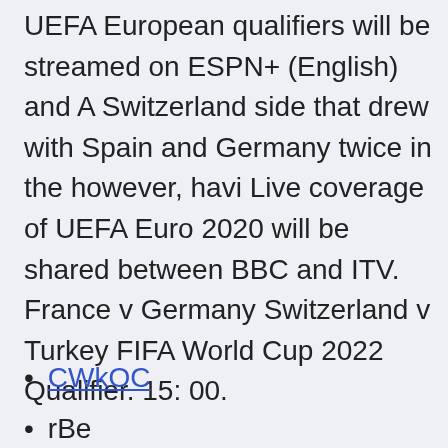UEFA European qualifiers will be streamed on ESPN+ (English) and A Switzerland side that drew with Spain and Germany twice in the however, havi Live coverage of UEFA Euro 2020 will be shared between BBC and ITV. France v Germany Switzerland v Turkey FIFA World Cup 2022 Qualifier. 15: 00.
CWkOC
rBe